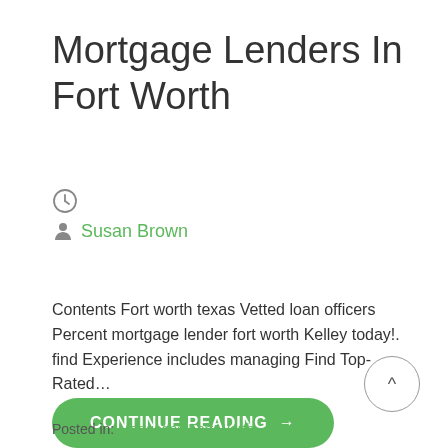Mortgage Lenders In Fort Worth
🕐
Susan Brown
Contents Fort worth texas Vetted loan officers Percent mortgage lender fort worth Kelley today!. find Experience includes managing Find Top-Rated…
CONTINUE READING →
^
Posted in: Mortgages Fort Worth